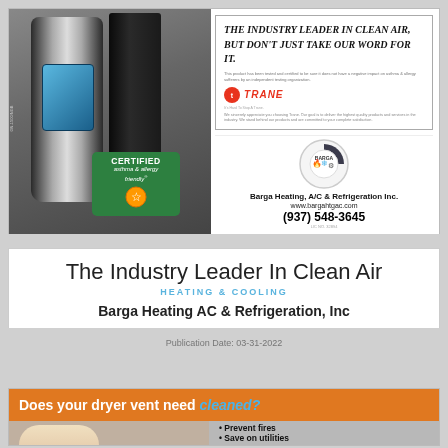[Figure (photo): Advertisement for Barga Heating, A/C & Refrigeration Inc. featuring a Trane air purifier, filter panel, 'Certified asthma & allergy friendly' badge, Trane branding panel with headline 'THE INDUSTRY LEADER IN CLEAN AIR, BUT DON'T JUST TAKE OUR WORD FOR IT.', and Barga company logo with contact info: www.bargahtgac.com, (937) 548-3645]
The Industry Leader In Clean Air
HEATING & COOLING
Barga Heating AC & Refrigeration, Inc
Publication Date: 03-31-2022
[Figure (photo): Advertisement asking 'Does your dryer vent need cleaned?' with bullet points: Prevent fires, Save on utilities. Orange header bar with person doing laundry.]